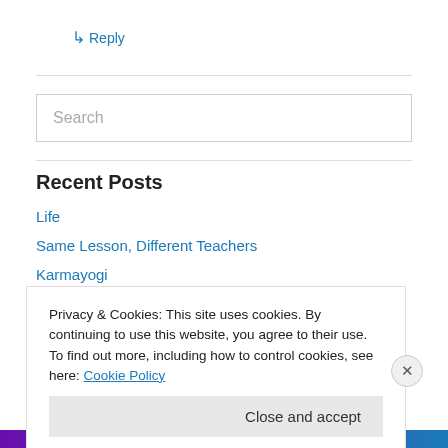↳ Reply
Search
Recent Posts
Life
Same Lesson, Different Teachers
Karmayogi
Privacy & Cookies: This site uses cookies. By continuing to use this website, you agree to their use.
To find out more, including how to control cookies, see here: Cookie Policy
Close and accept